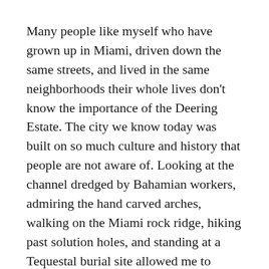Many people like myself who have grown up in Miami, driven down the same streets, and lived in the same neighborhoods their whole lives don't know the importance of the Deering Estate. The city we know today was built on so much culture and history that people are not aware of. Looking at the channel dredged by Bahamian workers, admiring the hand carved arches, walking on the Miami rock ridge, hiking past solution holes, and standing at a Tequestal burial site allowed me to appreciate my city for all that it stems from.
Miami will always be a city where people of different backgrounds and cultures come